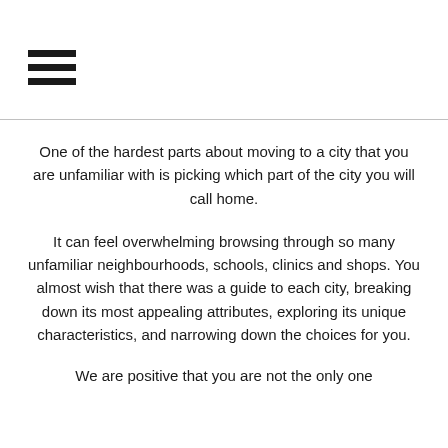☰
One of the hardest parts about moving to a city that you are unfamiliar with is picking which part of the city you will call home.
It can feel overwhelming browsing through so many unfamiliar neighbourhoods, schools, clinics and shops. You almost wish that there was a guide to each city, breaking down its most appealing attributes, exploring its unique characteristics, and narrowing down the choices for you.
We are positive that you are not the only one